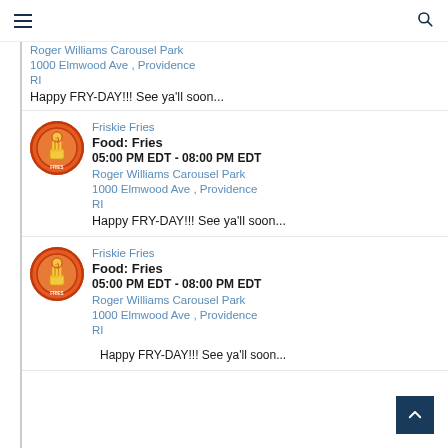Navigation bar with hamburger menu and search icon
Roger Williams Carousel Park
1000 Elmwood Ave , Providence RI
Happy FRY-DAY!!! See ya'll soon...
Friskie Fries
Food: Fries
05:00 PM EDT - 08:00 PM EDT
Roger Williams Carousel Park
1000 Elmwood Ave , Providence RI
Happy FRY-DAY!!! See ya'll soon...
Friskie Fries
Food: Fries
05:00 PM EDT - 08:00 PM EDT
Roger Williams Carousel Park
1000 Elmwood Ave , Providence RI
Happy FRY-DAY!!! See ya'll soon...